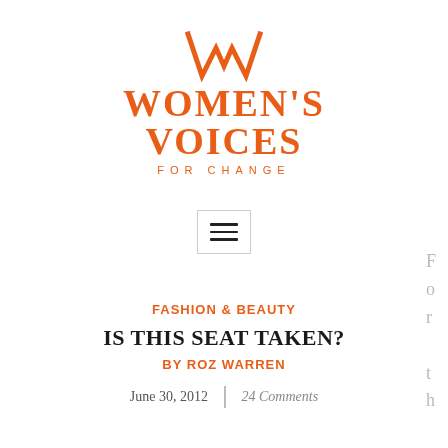[Figure (logo): Women's Voices for Change logo: orange W emblem above orange serif text WOMEN'S VOICES FOR CHANGE]
[Figure (other): Hamburger menu button: three horizontal lines inside a rectangle border]
FASHION & BEAUTY
IS THIS SEAT TAKEN?
BY ROZ WARREN
June 30, 2012  |  24 Comments